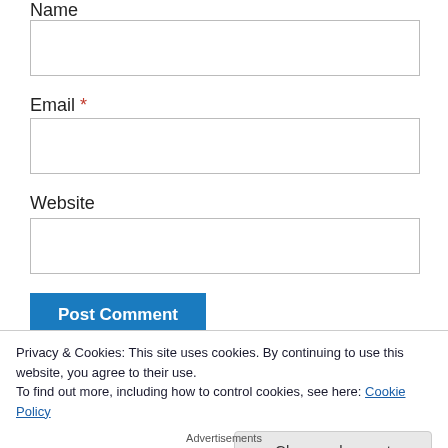Name
Email *
Website
Post Comment
Privacy & Cookies: This site uses cookies. By continuing to use this website, you agree to their use.
To find out more, including how to control cookies, see here: Cookie Policy
Close and accept
Advertisements